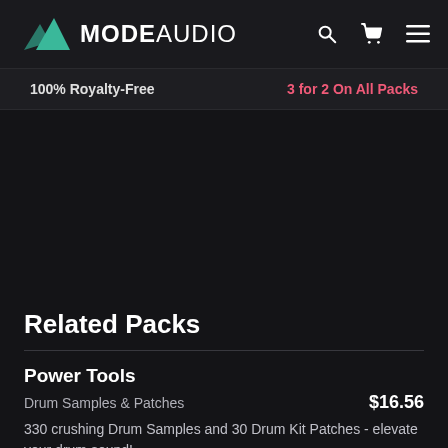MODE AUDIO
100% Royalty-Free   3 for 2 On All Packs
Related Packs
Power Tools
Drum Samples & Patches   $16.56
330 crushing Drum Samples and 30 Drum Kit Patches - elevate your drum sound!